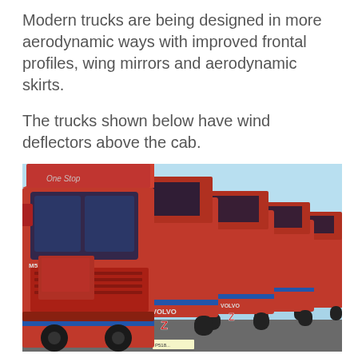Modern trucks are being designed in more aerodynamic ways with improved frontal profiles, wing mirrors and aerodynamic skirts.
The trucks shown below have wind deflectors above the cab.
[Figure (photo): A row of red Volvo trucks with wind deflectors above the cab, parked side by side against a blue sky background. The trucks have 'One Stop' branding on the wind deflector and 'VOLVO' text visible on the cab.]